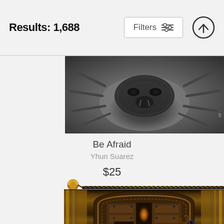Results: 1,688
[Figure (photo): Close-up black and white photo of a spider or creature, shown as part of a product listing on a shopping website]
Be Afraid
Yhun Suarez
$25
[Figure (photo): Zipper pouch product featuring an ornate gothic wooden door with arched entrance, decorative iron fittings, and warm glowing light behind the door panels]